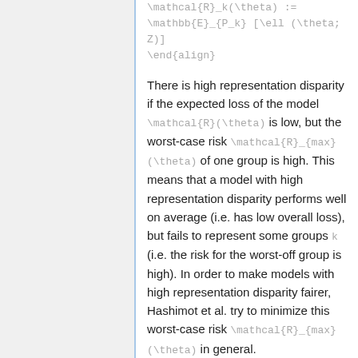There is high representation disparity if the expected loss of the model \mathcal{R}(\theta) is low, but the worst-case risk \mathcal{R}_{max}(\theta) of one group is high. This means that a model with high representation disparity performs well on average (i.e. has low overall loss), but fails to represent some groups k (i.e. the risk for the worst-off group is high). In order to make models with high representation disparity fairer, Hashimot et al. try to minimize this worst-case risk \mathcal{R}_{max}(\theta) in general.
Disparity Amplification